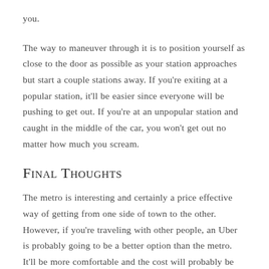you.
The way to maneuver through it is to position yourself as close to the door as possible as your station approaches but start a couple stations away. If you're exiting at a popular station, it'll be easier since everyone will be pushing to get out. If you're at an unpopular station and caught in the middle of the car, you won't get out no matter how much you scream.
Final Thoughts
The metro is interesting and certainly a price effective way of getting from one side of town to the other. However, if you're traveling with other people, an Uber is probably going to be a better option than the metro. It'll be more comfortable and the cost will probably be